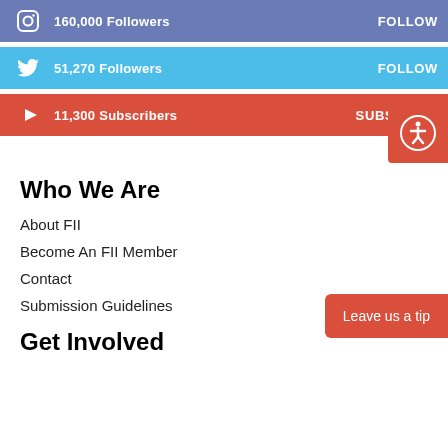160,000 Followers  FOLLOW
51,270 Followers  FOLLOW
11,300 Subscribers  SUBSCRIBE
Who We Are
About FII
Become An FII Member
Contact
Submission Guidelines
Get Involved